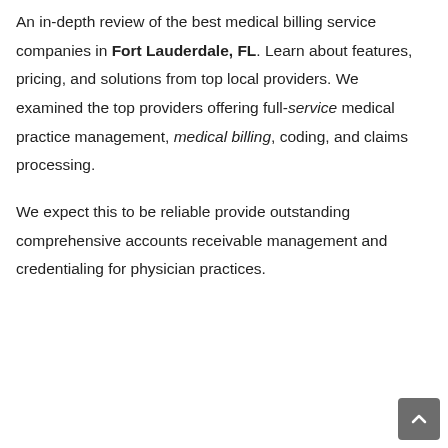An in-depth review of the best medical billing service companies in Fort Lauderdale, FL. Learn about features, pricing, and solutions from top local providers. We examined the top providers offering full-service medical practice management, medical billing, coding, and claims processing.
We expect this to be reliable provide outstanding comprehensive accounts receivable management and credentialing for physician practices.